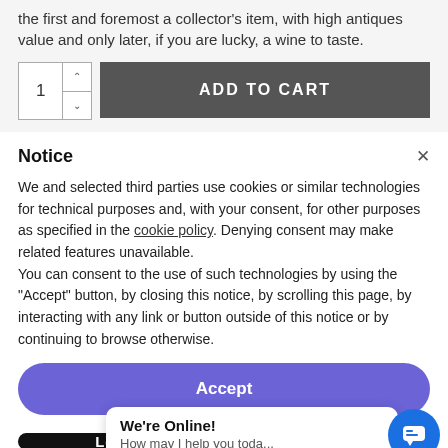the first and foremost a collector's item, with high antiques value and only later, if you are lucky, a wine to taste.
[Figure (screenshot): Quantity selector with up/down arrows and ADD TO CART button]
Notice
We and selected third parties use cookies or similar technologies for technical purposes and, with your consent, for other purposes as specified in the cookie policy. Denying consent may make related features unavailable.
You can consent to the use of such technologies by using the "Accept" button, by closing this notice, by scrolling this page, by interacting with any link or button outside of this notice or by continuing to browse otherwise.
[Figure (screenshot): Accept button (purple pill-shaped) and Learn More / Customize button (black pill-shaped) with chat popup overlay and chat bubble icon]